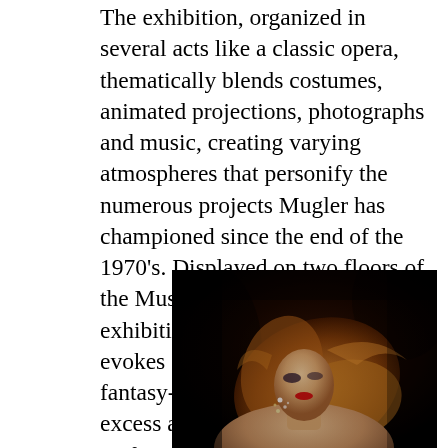The exhibition, organized in several acts like a classic opera, thematically blends costumes, animated projections, photographs and music, creating varying atmospheres that personify the numerous projects Mugler has championed since the end of the 1970's. Displayed on two floors of the Musée des Arts Décoratifs, the exhibition's opening aquatic theme evokes an eccentric world of fantasy-inspired fauna in which excess abounds, from the ocean's surface to the depths of the sea.
[Figure (photo): A woman with flowing auburn/blonde hair, wearing glamorous attire with sparkling jewelry, photographed against a dark black background in a dramatic fashion photography style.]